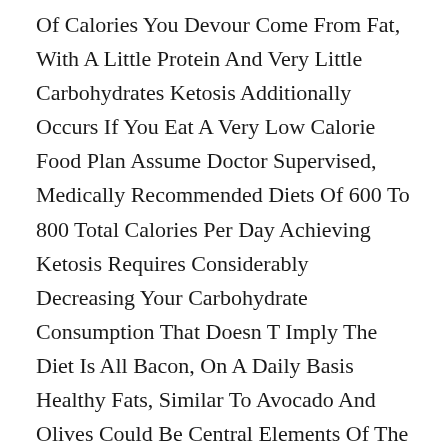Of Calories You Devour Come From Fat, With A Little Protein And Very Little Carbohydrates Ketosis Additionally Occurs If You Eat A Very Low Calorie Food Plan Assume Doctor Supervised, Medically Recommended Diets Of 600 To 800 Total Calories Per Day Achieving Ketosis Requires Considerably Decreasing Your Carbohydrate Consumption That Doesn T Imply The Diet Is All Bacon, On A Daily Basis Healthy Fats, Similar To Avocado And Olives Could Be Central Elements Of The Food Plan Along With Non Starchy Greens, Nuts And Seeds And Sources Of Protein Like Fatty Wild Fish, Eggs And Hen.
This Keto Bowl With Beef And Cauliflower Is A Nourishing Keto Dinner Filled With Taste And So Easy To Make Weight Loss Tips Easy To Make, Low Carb, And Packed With Protein And Veggie Easy And Stuffed With